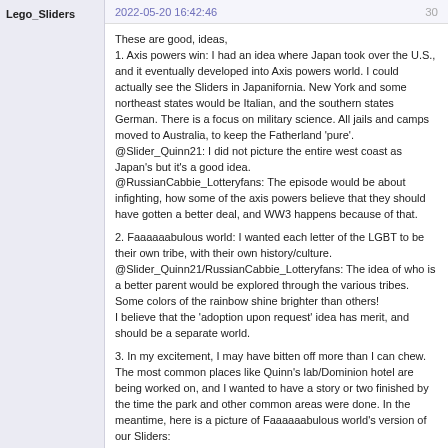Lego_Sliders
2022-05-20 16:42:46   30
These are good, ideas,
1. Axis powers win: I had an idea where Japan took over the U.S., and it eventually developed into Axis powers world. I could actually see the Sliders in Japanifornia. New York and some northeast states would be Italian, and the southern states German. There is a focus on military science. All jails and camps moved to Australia, to keep the Fatherland 'pure'.
@Slider_Quinn21: I did not picture the entire west coast as Japan's but it's a good idea.
@RussianCabbie_Lotteryfans: The episode would be about infighting, how some of the axis powers believe that they should have gotten a better deal, and WW3 happens because of that.

2. Faaaaaabulous world: I wanted each letter of the LGBT to be their own tribe, with their own history/culture.
@Slider_Quinn21/RussianCabbie_Lotteryfans: The idea of who is a better parent would be explored through the various tribes. Some colors of the rainbow shine brighter than others!
I believe that the 'adoption upon request' idea has merit, and should be a separate world.

3. In my excitement, I may have bitten off more than I can chew. The most common places like Quinn's lab/Dominion hotel are being worked on, and I wanted to have a story or two finished by the time the park and other common areas were done. In the meantime, here is a picture of Faaaaaabulous world's version of our Sliders: